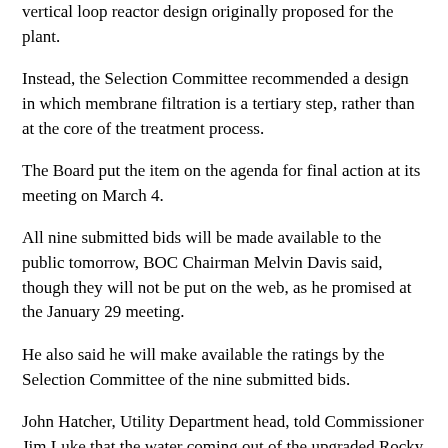vertical loop reactor design originally proposed for the plant.
Instead, the Selection Committee recommended a design in which membrane filtration is a tertiary step, rather than at the core of the treatment process.
The Board put the item on the agenda for final action at its meeting on March 4.
All nine submitted bids will be made available to the public tomorrow, BOC Chairman Melvin Davis said, though they will not be put on the web, as he promised at the January 29 meeting.
He also said he will make available the ratings by the Selection Committee of the nine submitted bids.
John Hatcher, Utility Department head, told Commissioner Jim Luke that the water coming out of the upgraded Rocky Branch plant will be the "best quality water we can afford to treat." He said it would match the quality of water from the current Calls Creek plant, which uses the vertical loop